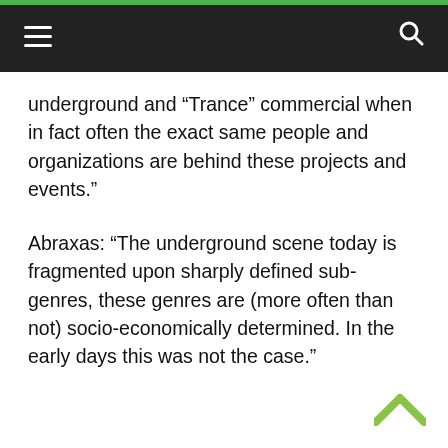≡  🔍
underground and “Trance” commercial when in fact often the exact same people and organizations are behind these projects and events.”
Abraxas: “The underground scene today is fragmented upon sharply defined sub-genres, these genres are (more often than not) socio-economically determined. In the early days this was not the case.”